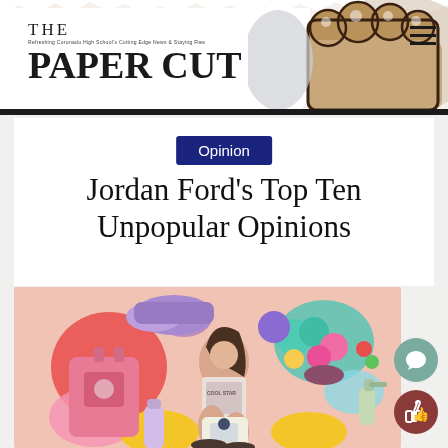THE PAPER CUT — Refreshing Coronado High School's Cutting Edge News & Staying Raw
Opinion
Jordan Ford's Top Ten Unpopular Opinions
[Figure (photo): Collage-style photo of a young woman sitting on the floor surrounded by colorful items including a pink backpack, purple sneakers, scrunchies, flowers, a water bottle, and other accessories on a pink background.]